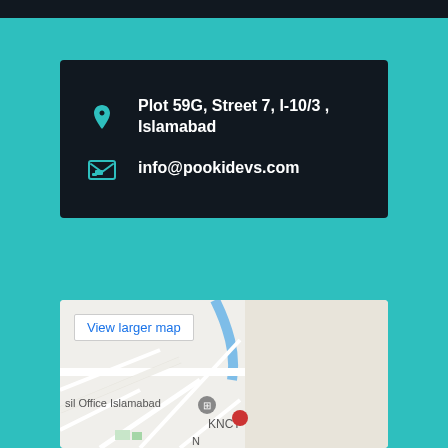Plot 59G, Street 7, I-10/3 , Islamabad
info@pookidevs.com
[Figure (map): Google map showing Islamabad area with streets, a location pin near KNCT and Tehsil Office Islamabad, and a 'View larger map' button]